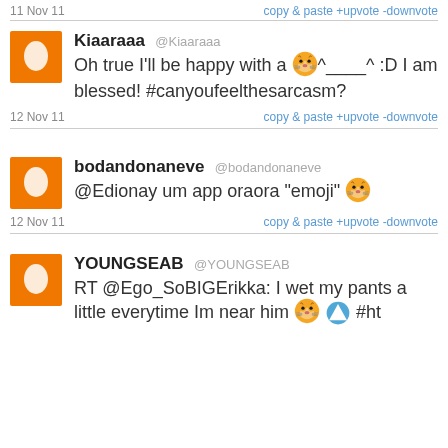11 Nov 11    copy & paste +upvote -downvote
Kiaaraaa @Kiaaraaa — Oh true I'll be happy with a 🐯^____^ :D I am blessed! #canyoufeelthesarcasm?
12 Nov 11    copy & paste +upvote -downvote
bodandonaneve @bodandonaneve — @Edionay um app oraora "emoji" 🐯
12 Nov 11    copy & paste +upvote -downvote
YOUNGSEAB @YOUNGSEAB — RT @Ego_SoBIGErikka: I wet my pants a little everytime Im near him 🐯 #ht